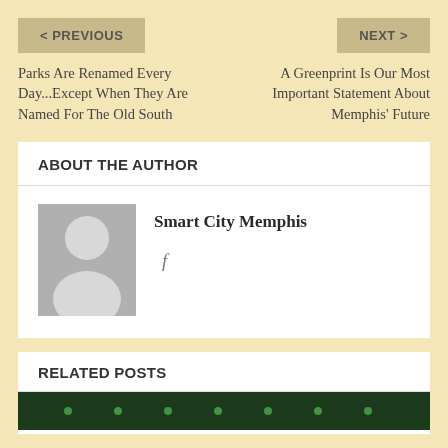< PREVIOUS
NEXT >
Parks Are Renamed Every Day...Except When They Are Named For The Old South
A Greenprint Is Our Most Important Statement About Memphis' Future
ABOUT THE AUTHOR
Smart City Memphis
[Figure (illustration): Generic user avatar silhouette on grey background]
f
RELATED POSTS
[Figure (photo): Dark green image strip at the bottom, partial view]